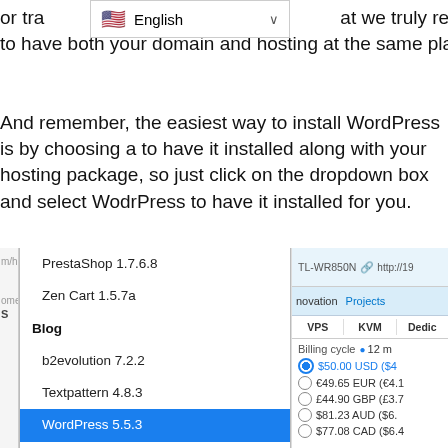or transfer your domain, at we truly recommend, it is best to have both your domain and hosting at the same place.
And remember, the easiest way to install WordPress is by choosing a to have it installed along with your hosting package, so just click on the dropdown box and select WodrPress to have it installed for you.
[Figure (screenshot): Screenshot showing a software dropdown list with items including PrestaShop 1.7.6.8, Zen Cart 1.5.7a, Blog (category), b2evolution 7.2.2, Textpattern 4.8.3, WordPress 5.5.3 (selected/highlighted in blue), Customer Support (category), ChurchCRM 4.2.2, Live Helper Chat 3.50, OS Ticket 1.14.3, Content Management (category), Concrete5 8.5.4, Drupal 7.73. On the right side a partial hosting pricing panel is visible with VPS, KVM, Dedicated tabs and billing cycle options showing prices in USD, EUR, GBP, AUD, CAD.]